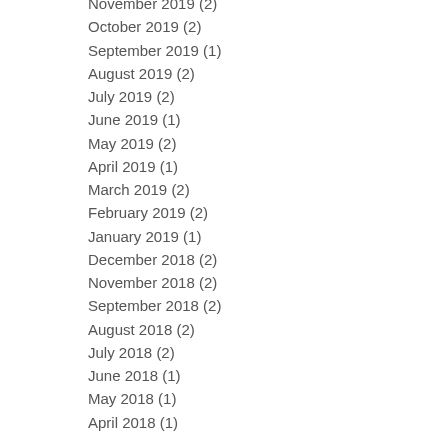November 2019 (2)
October 2019 (2)
September 2019 (1)
August 2019 (2)
July 2019 (2)
June 2019 (1)
May 2019 (2)
April 2019 (1)
March 2019 (2)
February 2019 (2)
January 2019 (1)
December 2018 (2)
November 2018 (2)
September 2018 (2)
August 2018 (2)
July 2018 (2)
June 2018 (1)
May 2018 (1)
April 2018 (1)